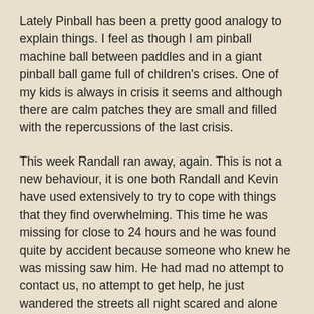Lately Pinball has been a pretty good analogy to explain things. I feel as though I am pinball machine ball between paddles and in a giant pinball ball game full of children's crises. One of my kids is always in crisis it seems and although there are calm patches they are small and filled with the repercussions of the last crisis.
This week Randall ran away, again. This is not a new behaviour, it is one both Randall and Kevin have used extensively to try to cope with things that they find overwhelming. This time he was missing for close to 24 hours and he was found quite by accident because someone who knew he was missing saw him. He had mad no attempt to contact us, no attempt to get help, he just wandered the streets all night scared and alone because he could not make a plan to fix the situation he had gotten himself into. It was horrible, it is always horrible when one of them is not where they are supposed to be. Once we had him home we had to pick up the pieces and the running away stemmed from school issues that were underlying things that have continued to blow up all week long. Randall just does not understand why other teens will not be as forgiving of his